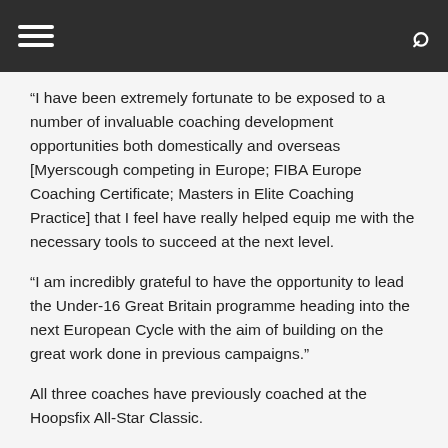[hamburger menu] [search icon]
“I have been extremely fortunate to be exposed to a number of invaluable coaching development opportunities both domestically and overseas [Myerscough competing in Europe; FIBA Europe Coaching Certificate; Masters in Elite Coaching Practice] that I feel have really helped equip me with the necessary tools to succeed at the next level.
“I am incredibly grateful to have the opportunity to lead the Under-16 Great Britain programme heading into the next European Cycle with the aim of building on the great work done in previous campaigns.”
All three coaches have previously coached at the Hoopsfix All-Star Classic.
The trio will now form part of the selection panel to appoint assistant coaches and team managers in early January, with further news on staff appointments and team schedules in February.